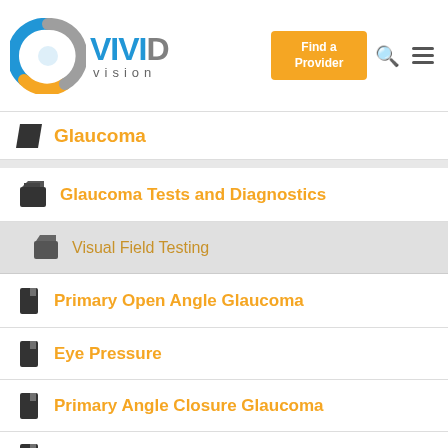Vivid Vision – Find a Provider
Glaucoma
Glaucoma Tests and Diagnostics
Visual Field Testing
Primary Open Angle Glaucoma
Eye Pressure
Primary Angle Closure Glaucoma
Congenital Glaucoma
Glaucoma in Dogs
Glaucoma Symptoms